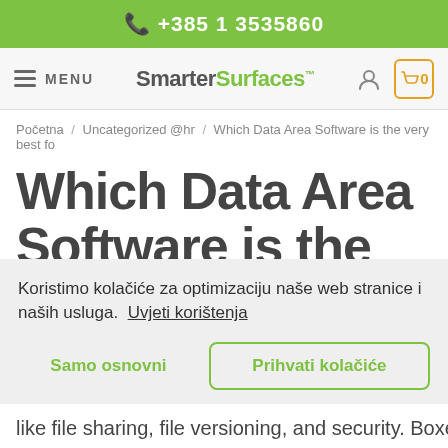📞 +385 1 3535860
[Figure (screenshot): Navigation bar with hamburger menu (MENU), SmarterSurfaces logo, user icon, and cart icon showing 0]
Početna / Uncategorized @hr / Which Data Area Software is the very best fo
Which Data Area Software is the very best
Koristimo kolačiće za optimizaciju naše web stranice i naših usluga. Uvjeti korištenja
Samo osnovni    Prihvati kolačiće
like file sharing, file versioning, and security. Boxed